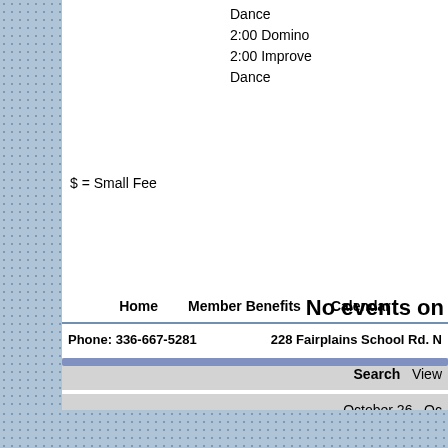Dance
2:00 Domino
2:00 Improve
Dance
$ = Small Fee
No events on
Search  View
October 26  Oc
Home   Member Benefits   Calendar
Phone: 336-667-5281   228 Fairplains School Rd. N